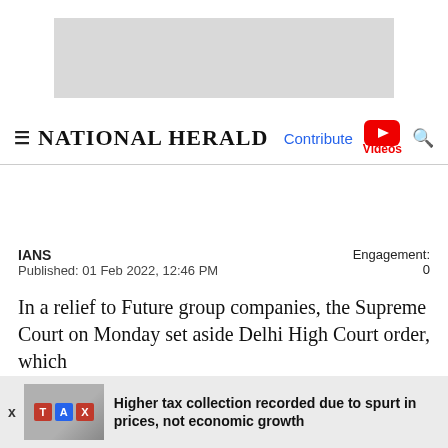[Figure (other): Gray advertisement banner placeholder at top of page]
≡ NATIONAL HERALD   Contribute  Videos  🔍
IANS
Published: 01 Feb 2022, 12:46 PM
Engagement: 0
In a relief to Future group companies, the Supreme Court on Monday set aside Delhi High Court order, which
Higher tax collection recorded due to spurt in prices, not economic growth